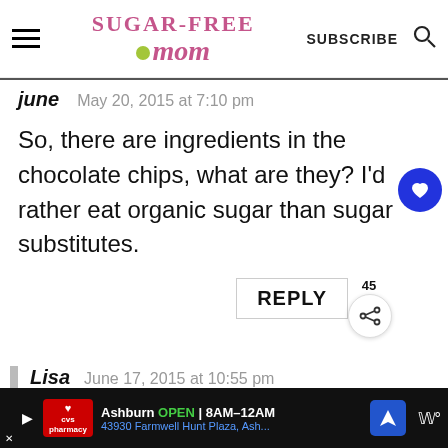SUGAR-FREE mom — SUBSCRIBE
june   May 20, 2015 at 7:10 pm
So, there are ingredients in the chocolate chips, what are they? I'd rather eat organic sugar than sugar substitutes.
REPLY   45
Lisa   June 17, 2015 at 10:55 pm
Ashburn OPEN 8AM–12AM 43930 Farmwell Hunt Plaza, Ash...